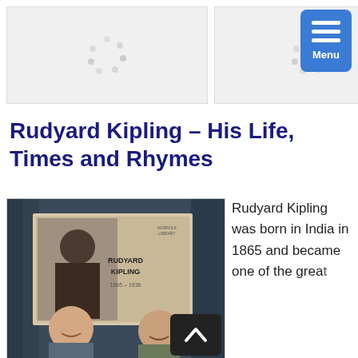[Figure (screenshot): Two loading placeholder boxes side by side with spinner dots, and a blue Menu button in top-right corner]
Rudyard Kipling – His Life, Times and Rhymes
[Figure (photo): Two people smiling in front of a presentation screen showing 'RUDYARD KIPLING' with a black and white portrait photo]
Rudyard Kipling was born in India in 1865 and became one of the great